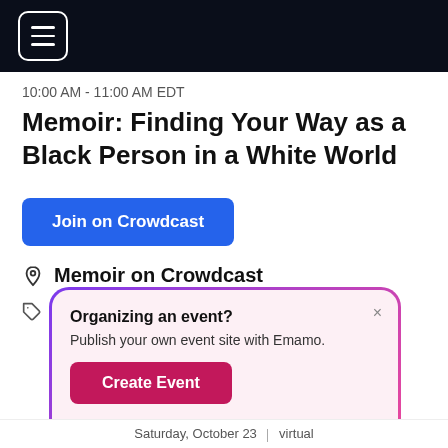[Figure (screenshot): Dark navy top navigation bar with hamburger menu icon (three horizontal lines) in a white rounded square border]
10:00 AM - 11:00 AM EDT
Memoir: Finding Your Way as a Black Person in a White World
[Figure (other): Blue button labeled 'Join on Crowdcast']
Memoir on Crowdcast
MEMOIR  NONFICTION
[Figure (other): Popup dialog with gradient purple-to-pink border on pink background. Title: 'Organizing an event?' Subtitle: 'Publish your own event site with Emamo.' Button: 'Create Event' in dark pink/magenta. Close X in top-right corner.]
Saturday, October 23 | virtual